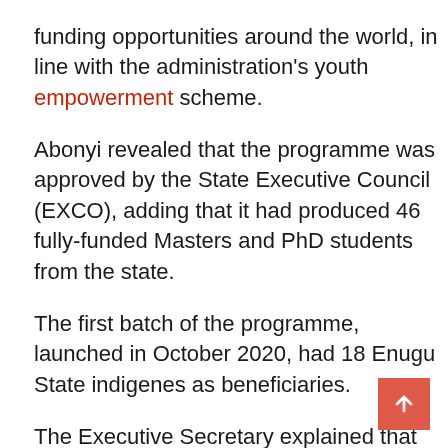funding opportunities around the world, in line with the administration's youth empowerment scheme.
Abonyi revealed that the programme was approved by the State Executive Council (EXCO), adding that it had produced 46 fully-funded Masters and PhD students from the state.
The first batch of the programme, launched in October 2020, had 18 Enugu State indigenes as beneficiaries.
The Executive Secretary explained that the scheme prepared fresh graduates to enroll directly into PhD programmes without first obtaining a Masters Degree.